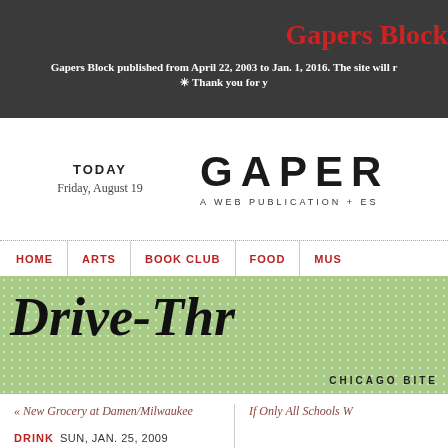Gapers Block
Gapers Block published from April 22, 2003 to Jan. 1, 2016. The site will r
✳ Thank you for y
TODAY
Friday, August 19
GAPER
A WEB PUBLICATION + ES
HOME | ARTS | BOOK CLUB | FOOD | MUS
[Figure (illustration): Drive-Thru banner with green halftone background pattern, large italic bold text reading 'Drive-Thr' and subtitle 'CHICAGO BITE']
« New Grocery at Damen/Milwaukee
If Only All Schools W
DRINK  SUN, JAN. 25, 2009